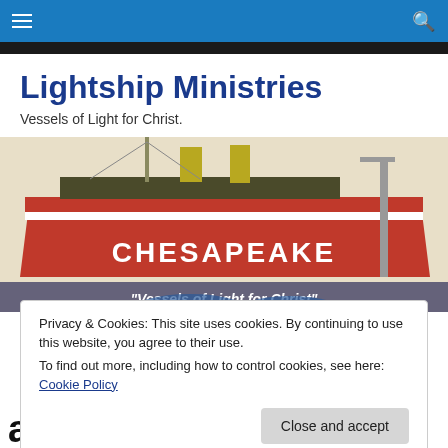Navigation bar with hamburger menu and search icon
Lightship Ministries
Vessels of Light for Christ.
[Figure (photo): Photo of the red Chesapeake lightship with the text overlay 'Vessels of Light for Christ']
Privacy & Cookies: This site uses cookies. By continuing to use this website, you agree to their use.
To find out more, including how to control cookies, see here: Cookie Policy
appear.